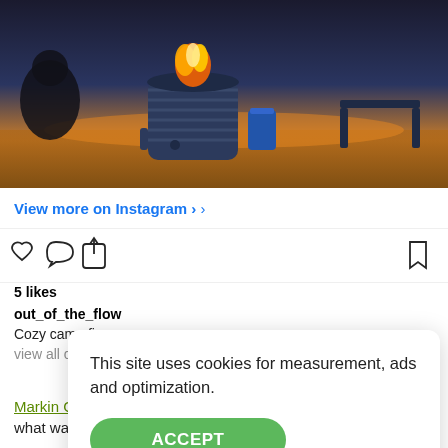[Figure (photo): Instagram post photo of a campfire in a metal fire pit outdoors at dusk, with a blue cup nearby and what appears to be a lake in the background]
View more on Instagram ›
[Figure (infographic): Instagram action bar with heart (like), comment bubble, share arrow icons on the left, and bookmark icon on the right]
5 likes
out_of_the_flow
Cozy camp fire
view all comments
This site uses cookies for measurement, ads and optimization.
ACCEPT
Markin Glen County Park covers 160 acres of what was once Morris Markin, founder of Checker